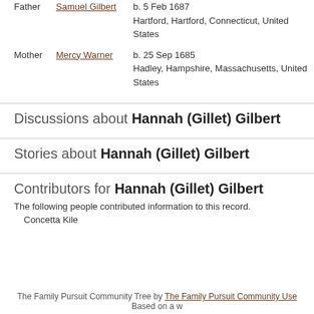Father  Samuel Gilbert  b. 5 Feb 1687 Hartford, Hartford, Connecticut, United States
Mother  Mercy Warner  b. 25 Sep 1685 Hadley, Hampshire, Massachusetts, United States
Discussions about Hannah (Gillet) Gilbert
Stories about Hannah (Gillet) Gilbert
Contributors for Hannah (Gillet) Gilbert
The following people contributed information to this record.
Concetta Kile
The Family Pursuit Community Tree by The Family Pursuit Community Use... Based on a w...